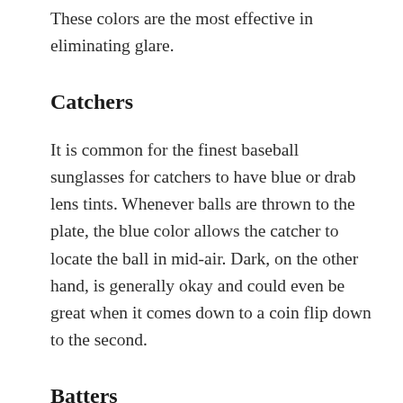These colors are the most effective in eliminating glare.
Catchers
It is common for the finest baseball sunglasses for catchers to have blue or drab lens tints. Whenever balls are thrown to the plate, the blue color allows the catcher to locate the ball in mid-air. Dark, on the other hand, is generally okay and could even be great when it comes down to a coin flip down to the second.
Batters
A green or black lens is also a good choice for hitters since it is more visible. You’ll get the opportunity to examine the method of approaching pitches more